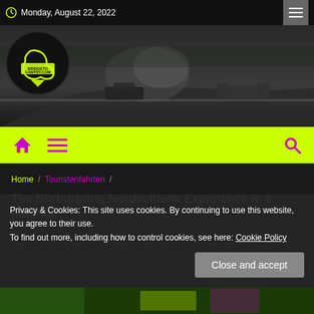Monday, August 22, 2022
[Figure (photo): Hero banner image showing racing cars on Nürburgring Nordschleife track in black and white, with BridgeToGantry.com logo circle overlay]
[Figure (logo): BridgeToGantry.com logo in yellow-green on dark circle background]
Home / Touristenfahrten /
The Nürburgring Nordschleife Experience in a nutshell
Privacy & Cookies: This site uses cookies. By continuing to use this website, you agree to their use.
To find out more, including how to control cookies, see here: Cookie Policy
Close and accept